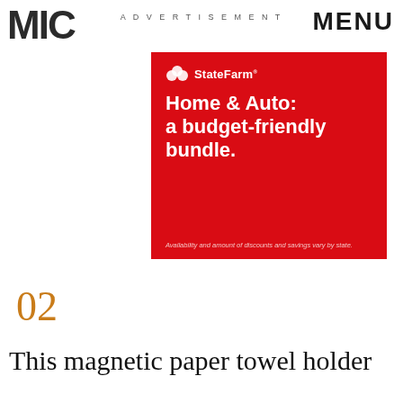MIC
ADVERTISEMENT
MENU
[Figure (illustration): State Farm advertisement on red background. Shows State Farm logo at top left with three interlocking circles icon, then large white bold text reading 'Home & Auto: a budget-friendly bundle.' with small disclaimer text at bottom: 'Availability and amount of discounts and savings vary by state.']
02
This magnetic paper towel holder